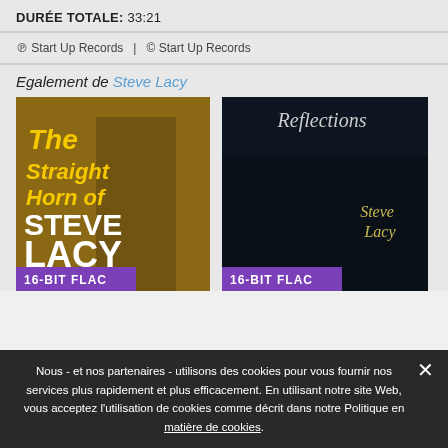DURÉE TOTALE:  33:21
℗ Start Up Records  |  © Start Up Records
Egalement de Steve Lacy
[Figure (photo): Album cover: The Straight Horn of Steve Lacy, 16-BIT FLAC badge]
[Figure (photo): Album cover: Reflections, Steve Lacy, 16-BIT FLAC badge]
Nous - et nos partenaires - utilisons des cookies pour vous fournir nos services plus rapidement et plus efficacement. En utilisant notre site Web, vous acceptez l'utilisation de cookies comme décrit dans notre Politique en matière de cookies.